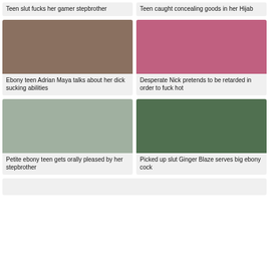Teen slut fucks her gamer stepbrother
Teen caught concealing goods in her Hijab
[Figure (photo): Young woman smiling, close-up face shot]
Ebony teen Adrian Maya talks about her dick sucking abilities
[Figure (photo): Woman in pink top, explicit content]
Desperate Nick pretends to be retarded in order to fuck hot
[Figure (photo): Woman in kitchen wearing light blue top and underwear]
Petite ebony teen gets orally pleased by her stepbrother
[Figure (photo): Group of people outdoors]
Picked up slut Ginger Blaze serves big ebony cock